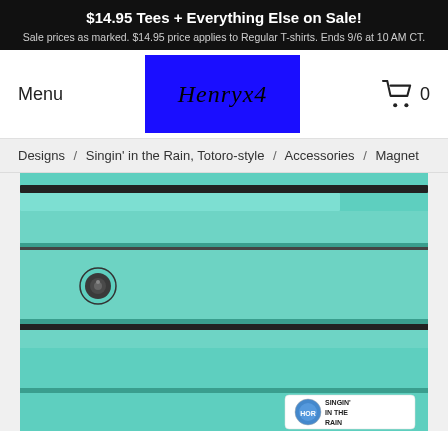$14.95 Tees + Everything Else on Sale! Sale prices as marked. $14.95 price applies to Regular T-shirts. Ends 9/6 at 10 AM CT.
Menu
[Figure (logo): Blue rectangle logo with italic text 'Henryx4' in black script]
0
Designs  /  Singin' in the Rain, Totoro-style  /  Accessories  /  Magnet
[Figure (photo): Close-up photo of a teal/mint colored locker or cabinet with horizontal ridged panels, a small round lock mechanism, and a sticker at the bottom reading 'Singin' in the Rain' with a circular logo]